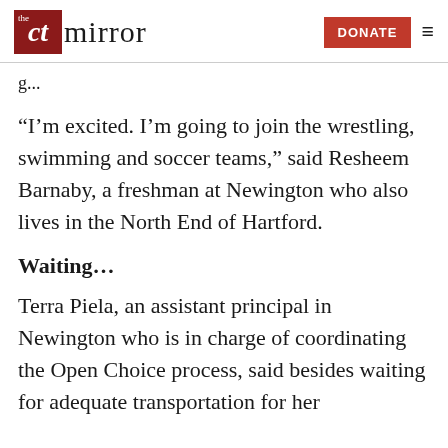the ct mirror — DONATE
g...
“I’m excited. I’m going to join the wrestling, swimming and soccer teams,” said Resheem Barnaby, a freshman at Newington who also lives in the North End of Hartford.
Waiting…
Terra Piela, an assistant principal in Newington who is in charge of coordinating the Open Choice process, said besides waiting for adequate transportation for her students, she is also waiting for the next...